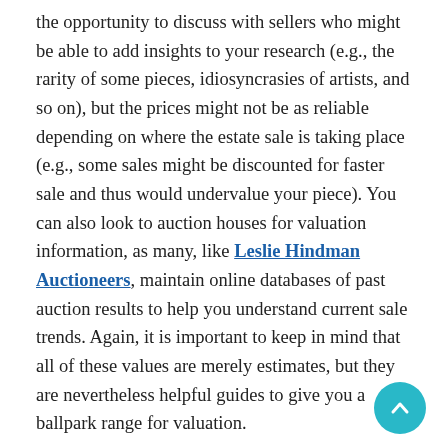the opportunity to discuss with sellers who might be able to add insights to your research (e.g., the rarity of some pieces, idiosyncrasies of artists, and so on), but the prices might not be as reliable depending on where the estate sale is taking place (e.g., some sales might be discounted for faster sale and thus would undervalue your piece). You can also look to auction houses for valuation information, as many, like Leslie Hindman Auctioneers, maintain online databases of past auction results to help you understand current sale trends. Again, it is important to keep in mind that all of these values are merely estimates, but they are nevertheless helpful guides to give you a ballpark range for valuation.